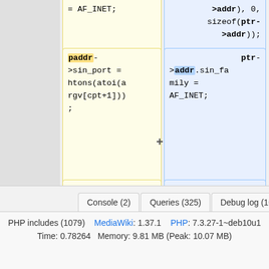[Figure (screenshot): Code diff view showing two columns. Left column (yellow) shows old code and right column (blue) shows new code. Top visible row: left cell contains '= AF_INET;', right cell contains '>addr), 0, sizeof(ptr->addr));'. Middle row: left cell (minus) contains 'paddr->sin_port = htons(atoi(argv[cpt+1]));', right cell (plus) contains 'ptr->addr.sin_family = AF_INET;'. Bottom row: left cell (minus) contains 'if(cpt!=0) {', right cell (plus) contains 'ptr->addr.sin_port = htons(atoi(argv[cpt+1]));'.]
Console (2)  Queries (325)  Debug log (1085)  Request
PHP includes (1079)  MediaWiki: 1.37.1  PHP: 7.3.27-1~deb10u1
Time: 0.78264  Memory: 9.81 MB (Peak: 10.07 MB)